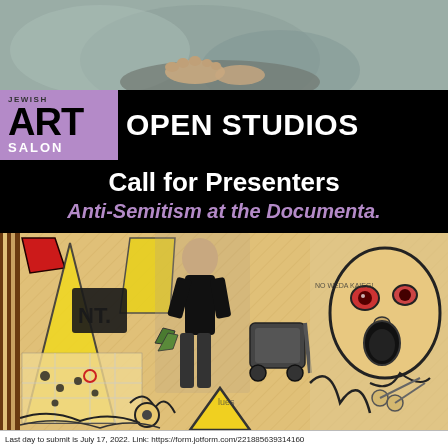[Figure (photo): Top portion of page showing what appears to be feet/legs against a mottled gray-green background, cropped]
JEWISH ART SALON OPEN STUDIOS
Call for Presenters
Anti-Semitism at the Documenta.
[Figure (illustration): Colorful mixed-media artwork collage featuring abstract and figurative elements including a person walking, large illustrated face, yellow triangles, green hands, map elements, and graffiti-style imagery]
Last day to submit is July 17, 2022. Link: https://form.jotform.com/221885639314160